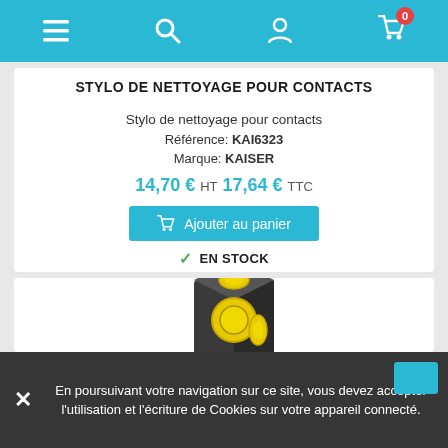Navigation bar with menu, search, account, and cart icons
STYLO DE NETTOYAGE POUR CONTACTS
Stylo de nettoyage pour contacts
Référence: KAI6323
Marque: KAISER
14,70 € HT 17,64 € TTC
Ajouter au panier
EN STOCK
[Figure (photo): Product photo: small black cube with yellow circular elements, photography accessory]
En poursuivant votre navigation sur ce site, vous devez accepter l'utilisation et l'écriture de Cookies sur votre appareil connecté.